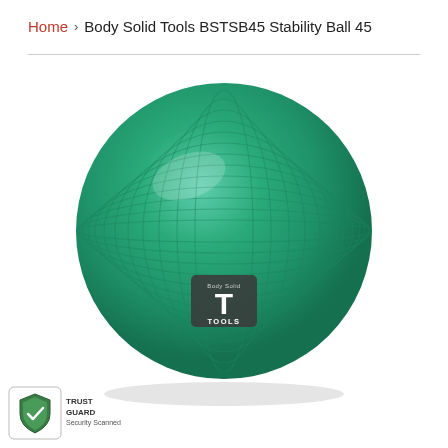Home › Body Solid Tools BSTSB45 Stability Ball 45
[Figure (photo): Green stability/exercise ball with horizontal ribbed texture and Body Solid Tools logo badge in the center-lower area. The ball is photographed against a white background.]
[Figure (logo): Trust Guard Security Scanned badge with shield icon in bottom-left corner]